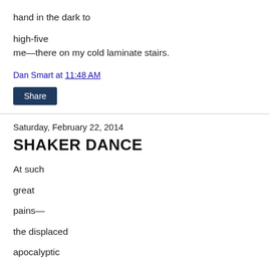hand in the dark to
high-five
me—there on my cold laminate stairs.
Dan Smart at 11:48 AM
Share
Saturday, February 22, 2014
SHAKER DANCE
At such
great
pains—
the displaced
apocalyptic
preacher sways—making